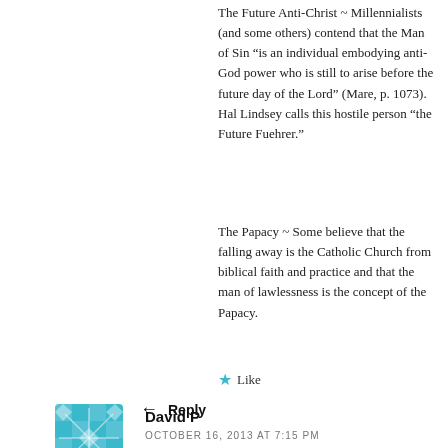The Future Anti-Christ ~ Millennialists (and some others) contend that the Man of Sin “is an individual embodying anti-God power who is still to arise before the future day of the Lord” (Mare, p. 1073). Hal Lindsey calls this hostile person “the Future Fuehrer.”
The Papacy ~ Some believe that the falling away is the Catholic Church from biblical faith and practice and that the man of lawlessness is the concept of the Papacy.
★ Like
← Reply
[Figure (illustration): Cyan/teal snowflake-patterned avatar icon]
David P
OCTOBER 16, 2013 AT 7:15 PM